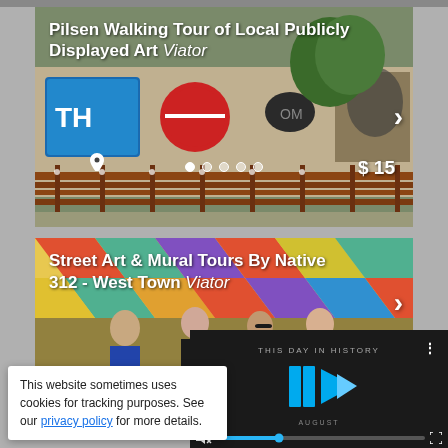[Figure (screenshot): Tour listing card: Pilsen Walking Tour of Local Publicly Displayed Art by Viator. Shows graffiti wall with colorful murals, metal fence in foreground, trees. Price $15. Navigation dots at bottom. Arrow on right.]
[Figure (screenshot): Tour listing card: Street Art & Mural Tours By Native 312 - West Town by Viator. Shows colorful geometric mural background with group of people/tourists in foreground.]
[Figure (screenshot): Video player overlay showing 'THIS DAY IN HISTORY' with blue play button, progress bar with mute icon, and fullscreen icon. Month label AUGUST visible.]
This website sometimes uses cookies for tracking purposes. See our privacy policy for more details.